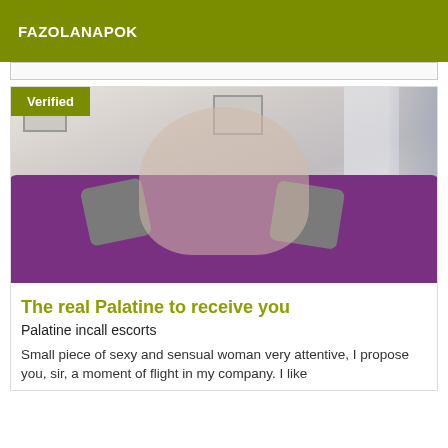FAZOLANAPOK
[Figure (photo): Woman posing on a purple couch with grey pillows in a room with picture frames on the wall and a curtain/window on the right. A 'Verified' badge appears in the upper left corner of the image.]
The real Palatine to receive you
Palatine incall escorts
Small piece of sexy and sensual woman very attentive, I propose you, sir, a moment of flight in my company. I like